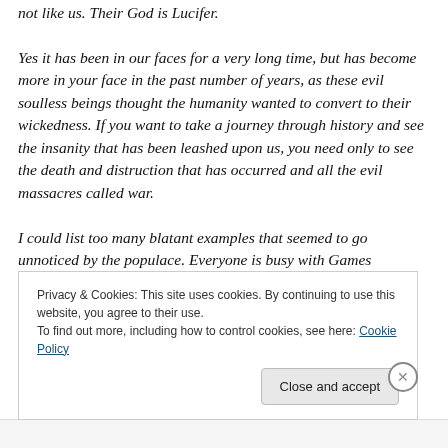not like us. Their God is Lucifer.

Yes it has been in our faces for a very long time, but has become more in your face in the past number of years, as these evil soulless beings thought the humanity wanted to convert to their wickedness. If you want to take a journey through history and see the insanity that has been leashed upon us, you need only to see the death and distruction that has occurred and all the evil massacres called war.

I could list too many blatant examples that seemed to go unnoticed by the populace. Everyone is busy with Games
Privacy & Cookies: This site uses cookies. By continuing to use this website, you agree to their use.
To find out more, including how to control cookies, see here: Cookie Policy
Close and accept